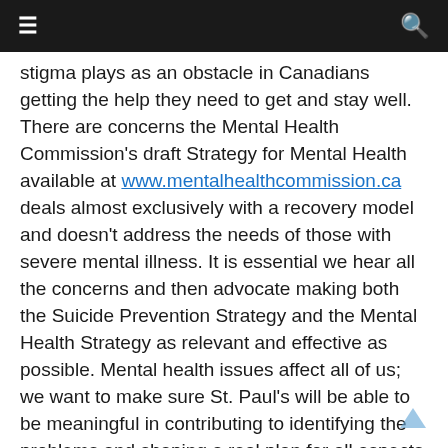≡  🔍
stigma plays as an obstacle in Canadians getting the help they need to get and stay well. There are concerns the Mental Health Commission's draft Strategy for Mental Health available at www.mentalhealthcommission.ca deals almost exclusively with a recovery model and doesn't address the needs of those with severe mental illness. It is essential we hear all the concerns and then advocate making both the Suicide Prevention Strategy and the Mental Health Strategy as relevant and effective as possible. Mental health issues affect all of us; we want to make sure St. Paul's will be able to be meaningful in contributing to identifying the problems and shaping a real plan for all aspects of mental health.